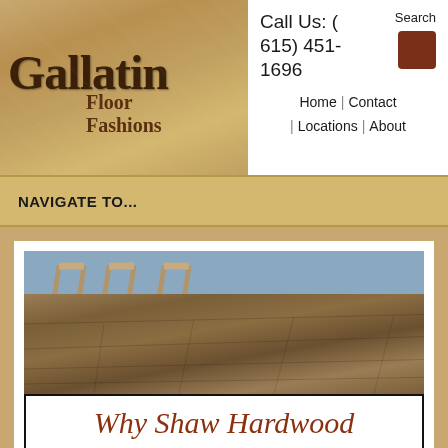[Figure (logo): Gallatin Floor Fashions logo with decorative serif text on textured tan background]
Call Us: (615) 451-1696  Search
Home | Contact
| Locations | About
NAVIGATE TO...
[Figure (photo): Interior photo showing hardwood flooring with bar stools visible, hardwood planks in warm brown tones]
Why Shaw Hardwood
Home / Hardwood / Why Shaw Hardwood